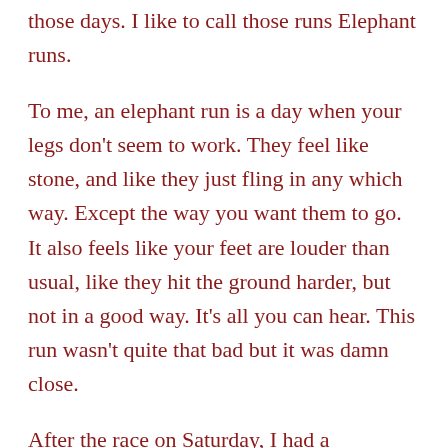those days.  I like to call those runs Elephant runs.
To me, an elephant run is a day when your legs don't seem to work.  They feel like stone, and like they just fling in any which way.  Except the way you want them to go.  It also feels like your feet are louder than usual, like they hit the ground harder, but not in a good way.  It's all you can hear.  This run wasn't quite that bad but it was damn close.
After the race on Saturday, I had a